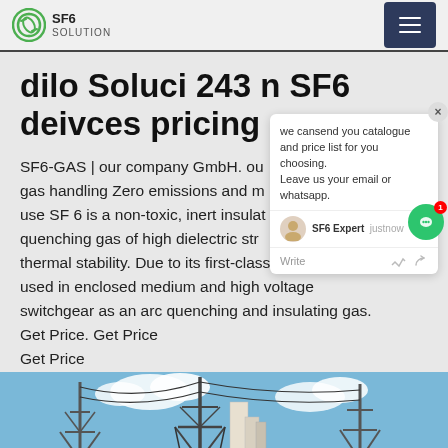SF6 SOLUTION
dilo Soluci 243 n SF6 deivces pricing
SF6-GAS | our company GmbH. ou SF 6 gas handling Zero emissions and m re use SF 6 is a non-toxic, inert insulating quenching gas of high dielectric strength thermal stability. Due to its first-class properties it is used in enclosed medium and high voltage switchgear as an arc quenching and insulating gas. Get Price. Get Price
Get Price
[Figure (photo): Power transmission towers and electrical infrastructure against a blue sky with clouds]